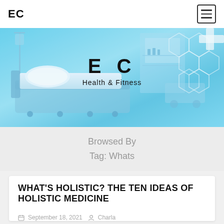EC
[Figure (photo): Hospital room with medical bed, pillow, IV stand and hospital equipment in a blue-tinted photo. Overlaid with hexagonal molecular pattern and medical cross symbol on the right. Center text reads 'E C' and 'Health & Fitness'.]
Browsed By
Tag: Whats
WHAT'S HOLISTIC? THE TEN IDEAS OF HOLISTIC MEDICINE
September 18, 2021  Charla